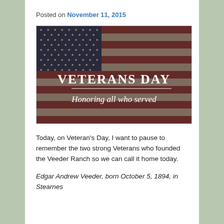Posted on November 11, 2015
[Figure (photo): Veterans Day image with American flag background showing stars and red/dark stripes, with bold white text 'VETERANS DAY' and italic script 'Honoring all who served']
Today, on Veteran's Day, I want to pause to remember the two strong Veterans who founded the Veeder Ranch so we can call it home today.
Edgar Andrew Veeder, born October 5, 1894, in Stearnes